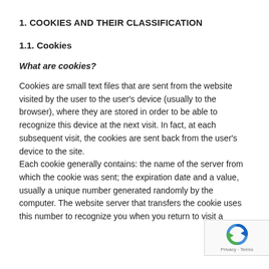1. COOKIES AND THEIR CLASSIFICATION
1.1. Cookies
What are cookies?
Cookies are small text files that are sent from the website visited by the user to the user's device (usually to the browser), where they are stored in order to be able to recognize this device at the next visit. In fact, at each subsequent visit, the cookies are sent back from the user's device to the site.
Each cookie generally contains: the name of the server from which the cookie was sent; the expiration date and a value, usually a unique number generated randomly by the computer. The website server that transfers the cookie uses this number to recognize you when you return to visit a